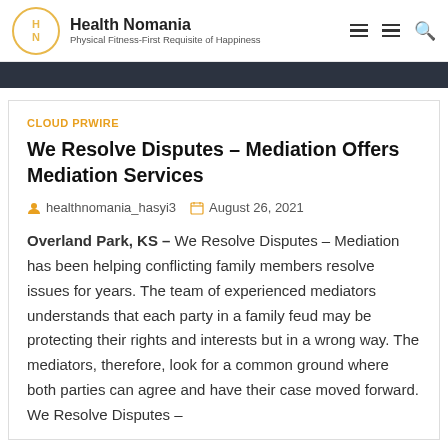Health Nomania — Physical Fitness-First Requisite of Happiness
CLOUD PRWIRE
We Resolve Disputes – Mediation Offers Mediation Services
healthnomania_hasyi3   August 26, 2021
Overland Park, KS – We Resolve Disputes – Mediation has been helping conflicting family members resolve issues for years. The team of experienced mediators understands that each party in a family feud may be protecting their rights and interests but in a wrong way. The mediators, therefore, look for a common ground where both parties can agree and have their case moved forward. We Resolve Disputes –